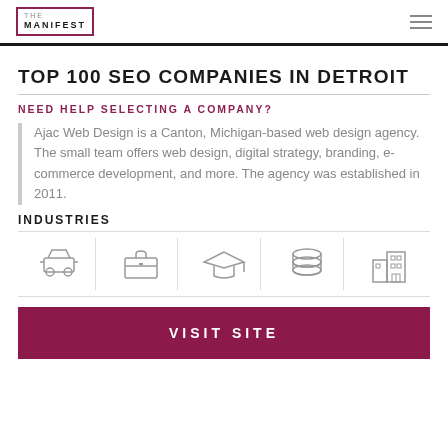THE MANIFEST
TOP 100 SEO COMPANIES IN DETROIT
NEED HELP SELECTING A COMPANY?
Ajac Web Design is a Canton, Michigan-based web design agency. The small team offers web design, digital strategy, branding, e-commerce development, and more. The agency was established in 2011.
INDUSTRIES
[Figure (illustration): Five industry icons in a row: automotive/car, briefcase/business, graduation cap/education, coins/finance, buildings/real estate]
VISIT SITE